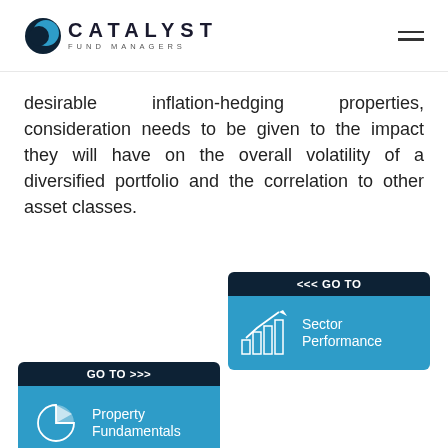CATALYST FUND MANAGERS
desirable inflation-hedging properties, consideration needs to be given to the impact they will have on the overall volatility of a diversified portfolio and the correlation to other asset classes.
[Figure (infographic): Navigation button: << GO TO Sector Performance with bar/line chart icon on teal background]
[Figure (infographic): Navigation button: GO TO >>> Property Fundamentals with pie chart icon on teal background]